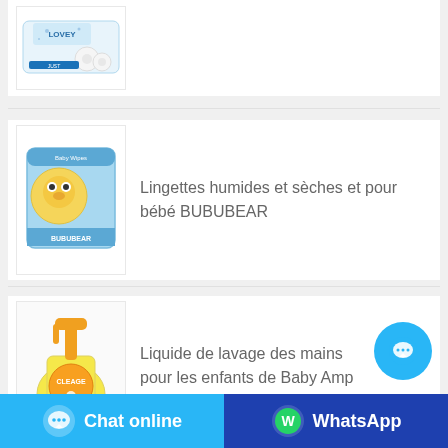[Figure (photo): Product image of LOVEY toilet paper / tissue pack, white packaging with blue accents and small rolls visible]
[Figure (photo): Product image of BUBUBEAR baby wet wipes packet, blue packaging with cartoon bear character]
Lingettes humides et sèches et pour bébé BUBUBEAR
[Figure (photo): Product image of CLEAGE children's hand washing liquid, yellow bottle with orange/yellow cap]
Liquide de lavage des mains pour les enfants de Baby Amp
Chat online
WhatsApp